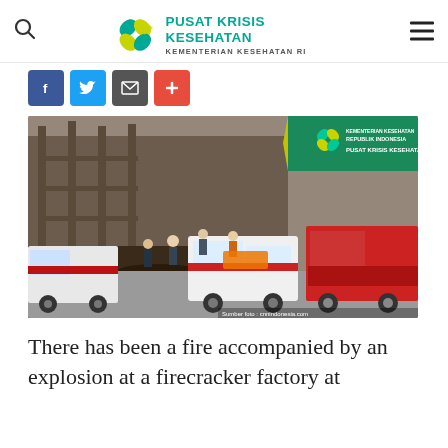Pusat Krisis Kesehatan Kementerian Kesehatan RI
[Figure (logo): Pusat Krisis Kesehatan logo with teal cross/flower icon and text PUSAT KRISIS KESEHATAN / KEMENTERIAN KESEHATAN RI]
[Figure (photo): Emergency scene at a fire and explosion site showing police, military, and emergency responders with ambulances and fire trucks. There is rubble and debris in the background. A Pusat Krisis Kesehatan banner is visible in the upper right.]
There has been a fire accompanied by an explosion at a firecracker factory at